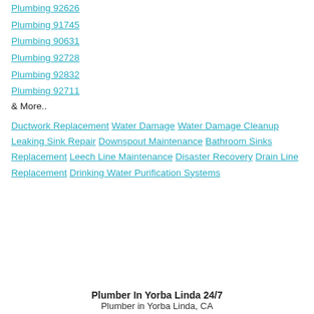Plumbing 92626
Plumbing 91745
Plumbing 90631
Plumbing 92728
Plumbing 92832
Plumbing 92711
& More..
Ductwork Replacement Water Damage Water Damage Cleanup Leaking Sink Repair Downspout Maintenance Bathroom Sinks Replacement Leech Line Maintenance Disaster Recovery Drain Line Replacement Drinking Water Purification Systems
Plumber In Yorba Linda 24/7
Plumber in Yorba Linda, CA